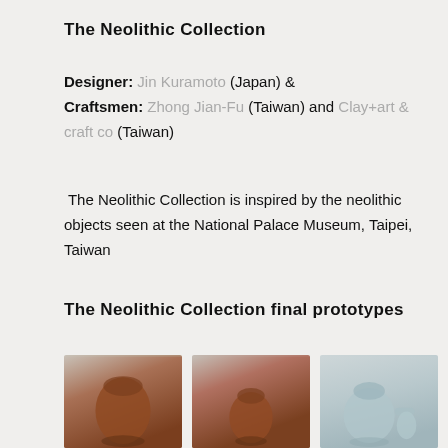The Neolithic Collection
Designer: Jin Kuramoto (Japan)  &
Craftsmen: Zhong Jian-Fu (Taiwan) and Clay+art & craft co (Taiwan)
The Neolithic Collection is inspired by the neolithic objects seen at the National Palace Museum, Taipei, Taiwan
The Neolithic Collection final prototypes
[Figure (photo): Three photos of Neolithic Collection ceramic prototypes: a brown/terracotta vessel on the left, a smaller brown/terracotta vessel in the middle, and a light blue/celadon teapot set on the right.]